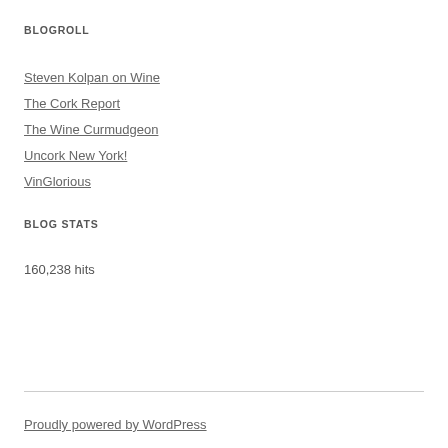BLOGROLL
Steven Kolpan on Wine
The Cork Report
The Wine Curmudgeon
Uncork New York!
VinGlorious
BLOG STATS
160,238 hits
Proudly powered by WordPress